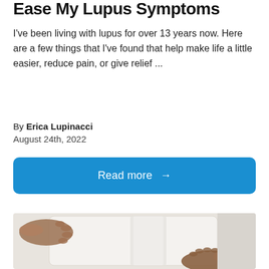Ease My Lupus Symptoms
I've been living with lupus for over 13 years now. Here are a few things that I've found that help make life a little easier, reduce pain, or give relief ...
By Erica Lupinacci
August 24th, 2022
Read more →
[Figure (photo): Hands smoothing or adjusting a white pillow or cushion on a white surface, seen from above]